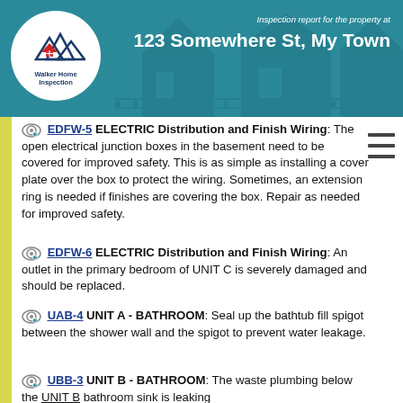Inspection report for the property at 123 Somewhere St, My Town — Walker Home Inspection
EDFW-5 ELECTRIC Distribution and Finish Wiring: The open electrical junction boxes in the basement need to be covered for improved safety. This is as simple as installing a cover plate over the box to protect the wiring. Sometimes, an extension ring is needed if finishes are covering the box. Repair as needed for improved safety.
EDFW-6 ELECTRIC Distribution and Finish Wiring: An outlet in the primary bedroom of UNIT C is severely damaged and should be replaced.
UAB-4 UNIT A - BATHROOM: Seal up the bathtub fill spigot between the shower wall and the spigot to prevent water leakage.
UBB-3 UNIT B - BATHROOM: The waste plumbing below the UNIT B bathroom sink is leaking